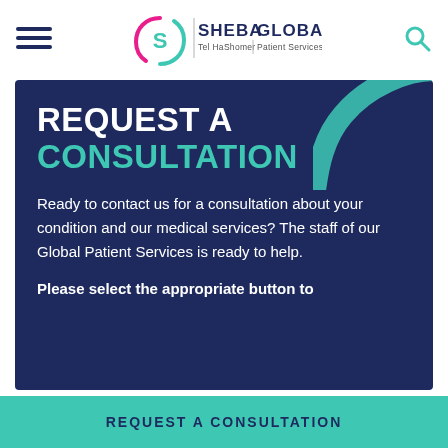[Figure (logo): Sheba Global Patient Services logo with hamburger menu and search icon in header]
REQUEST A CONSULTATION
Ready to contact us for a consultation about your condition and our medical services? The staff of our Global Patient Services is ready to help.
Please select the appropriate button to
REQUEST A CONSULTATION